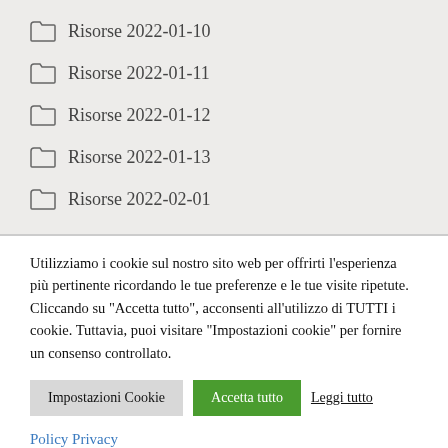Risorse 2022-01-10
Risorse 2022-01-11
Risorse 2022-01-12
Risorse 2022-01-13
Risorse 2022-02-01
Utilizziamo i cookie sul nostro sito web per offrirti l'esperienza più pertinente ricordando le tue preferenze e le tue visite ripetute. Cliccando su "Accetta tutto", acconsenti all'utilizzo di TUTTI i cookie. Tuttavia, puoi visitare "Impostazioni cookie" per fornire un consenso controllato.
Impostazioni Cookie | Accetta tutto | Leggi tutto
Policy Privacy